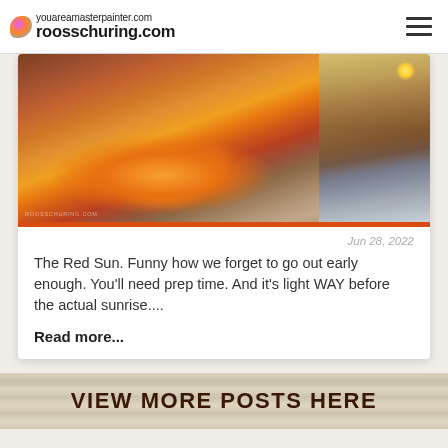youareamasterpainter.com roosschuring.com
[Figure (photo): Two-panel image: left panel shows an impressionist oil painting of a red/orange sunset landscape; right panel shows plein air painting supplies (easel box, palette) outdoors at sunset]
Jun 28, 2022
The Red Sun. Funny how we forget to go out early enough. You'll need prep time. And it's light WAY before the actual sunrise....
Read more...
VIEW MORE POSTS HERE